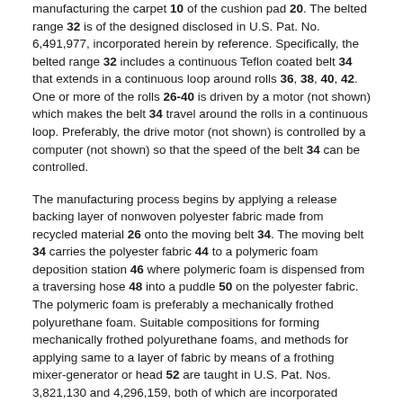manufacturing the carpet 10 of the cushion pad 20. The belted range 32 is of the designed disclosed in U.S. Pat. No. 6,491,977, incorporated herein by reference. Specifically, the belted range 32 includes a continuous Teflon coated belt 34 that extends in a continuous loop around rolls 36, 38, 40, 42. One or more of the rolls 26-40 is driven by a motor (not shown) which makes the belt 34 travel around the rolls in a continuous loop. Preferably, the drive motor (not shown) is controlled by a computer (not shown) so that the speed of the belt 34 can be controlled.
The manufacturing process begins by applying a release backing layer of nonwoven polyester fabric made from recycled material 26 onto the moving belt 34. The moving belt 34 carries the polyester fabric 44 to a polymeric foam deposition station 46 where polymeric foam is dispensed from a traversing hose 48 into a puddle 50 on the polyester fabric. The polymeric foam is preferably a mechanically frothed polyurethane foam. Suitable compositions for forming mechanically frothed polyurethane foams, and methods for applying same to a layer of fabric by means of a frothing mixer-generator or head 52 are taught in U.S. Pat. Nos. 3,821,130 and 4,296,159, both of which are incorporated herein by reference. According to this method, the frothing is accomplished by mechanically inducing an inert gas, preferably relatively moisture-free air or nitrogen, into a polyurethane-forming composition. This may be accomplished, for example, by feeding a stream comprising a mixture of urethane-forming components or separate streams of urethane-forming components and a stream of air, or other inert